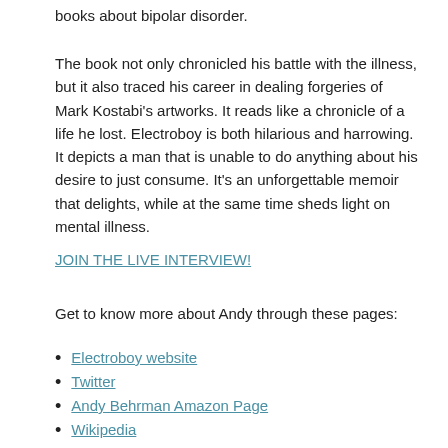books about bipolar disorder.
The book not only chronicled his battle with the illness, but it also traced his career in dealing forgeries of Mark Kostabi's artworks. It reads like a chronicle of a life he lost. Electroboy is both hilarious and harrowing. It depicts a man that is unable to do anything about his desire to just consume. It's an unforgettable memoir that delights, while at the same time sheds light on mental illness.
JOIN THE LIVE INTERVIEW!
Get to know more about Andy through these pages:
Electroboy website
Twitter
Andy Behrman Amazon Page
Wikipedia